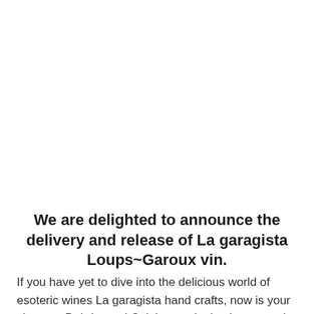We are delighted to announce the delivery and release of La garagista Loups~Garoux vin.
If you have yet to dive into the delicious world of esoteric wines La garagista hand crafts, now is your chance.  Deirdre and Caleb are winning hearts and palates over around the